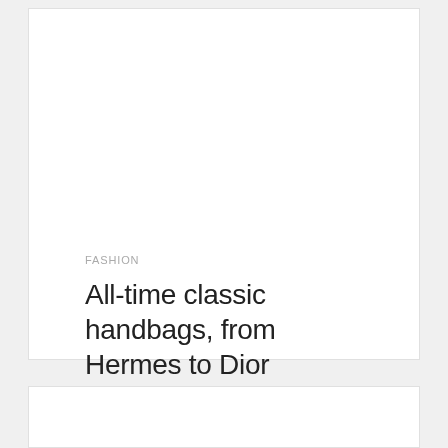FASHION
All-time classic handbags, from Hermes to Dior